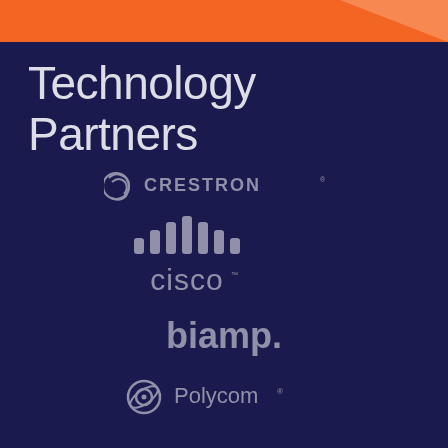[Figure (logo): Orange header bar with triangle decoration in top-right corner]
Technology Partners
[Figure (logo): Crestron logo in light gray/silver on dark navy background]
[Figure (logo): Cisco logo with signal bars icon in gray on dark navy background]
[Figure (logo): biamp. logo in gray on dark navy background]
[Figure (logo): Polycom logo with circular icon in gray on dark navy background]